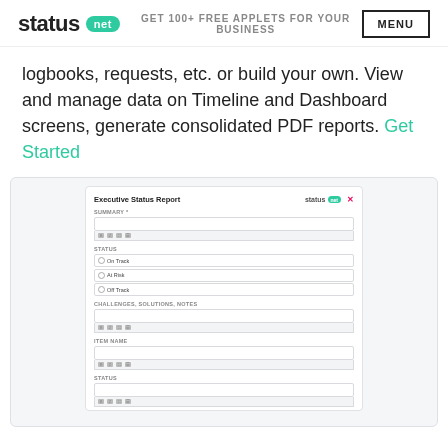status net | GET 100+ FREE APPLETS FOR YOUR BUSINESS | MENU
logbooks, requests, etc. or build your own. View and manage data on Timeline and Dashboard screens, generate consolidated PDF reports. Get Started
[Figure (screenshot): Screenshot of an Executive Status Report form in the Status.net app, showing fields for Summary, Status (On Track, At Risk, Off Track), Challenges/Solutions/Notes, Item Name, and Status.]